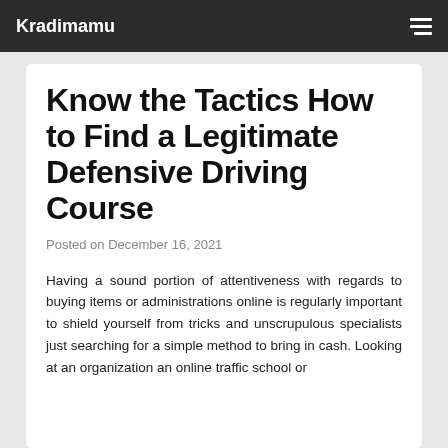Kradimamu
Know the Tactics How to Find a Legitimate Defensive Driving Course
Posted on December 16, 2021
Having a sound portion of attentiveness with regards to buying items or administrations online is regularly important to shield yourself from tricks and unscrupulous specialists just searching for a simple method to bring in cash. Looking at an organization an online traffic school or